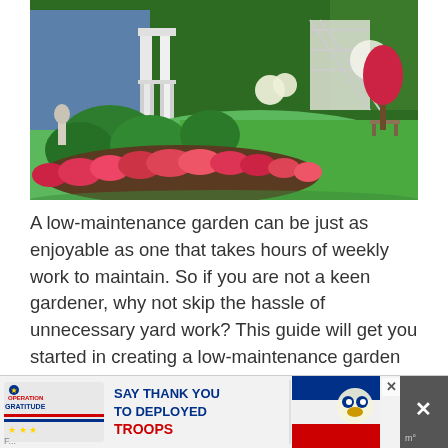[Figure (photo): A well-maintained garden with lush green lawn, colorful red and pink flower beds along a curved border, green shrubs, garden statues, a blue house with white porch on the left, and a white lattice arbor in the background.]
A low-maintenance garden can be just as enjoyable as one that takes hours of weekly work to maintain. So if you are not a keen gardener, why not skip the hassle of unnecessary yard work? This guide will get you started in creating a low-maintenance garden your family will get the most out of. Install […]
[Figure (infographic): Advertisement banner: Operation Gratitude logo with stars and ribbons, text 'SAY THANK YOU TO DEPLOYED TROOPS' in bold blue and red, patriotic imagery including an owl character with American flag elements, and a close (X) button.]